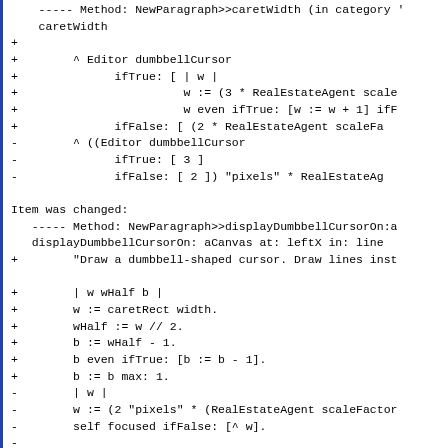----- Method: NewParagraph>>caretWidth (in category '
caRetWidth
+
+        ^ Editor dumbbellCursor
+              ifTrue: [ | w |
+                        w := (3 * RealEstateAgent scale
+                        w even ifTrue: [w := w + 1] ifF
+              ifFalse: [ (2 * RealEstateAgent scaleFa
-        ^ ((Editor dumbbellCursor
-              ifTrue: [ 3 ]
-              ifFalse: [ 2 ]) "pixels" * RealEstateAg
Item was changed:
   ----- Method: NewParagraph>>displayDumbbellCursorOn:a
   displayDumbbellCursorOn: aCanvas at: leftX in: line
+        "Draw a dumbbell-shaped cursor. Draw lines inst
+        | w wHalf b |
+        w := caretRect width.
+        wHalf := w // 2.
+        b := wHalf - 1.
+        b even ifTrue: [b := b - 1].
+        b := b max: 1.
-        | w |
-        w := (2 "pixels" * (RealEstateAgent scaleFactor
-        self focused ifFalse: [^ w].
-
-        1 to: w
-              do:
-                    [:i |